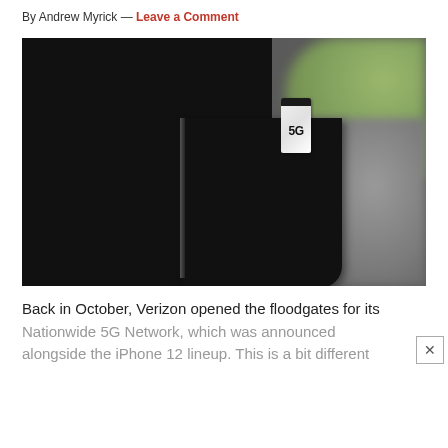By Andrew Myrick — Leave a Comment
[Figure (photo): A black smartphone held upright with a 5G SIM card being inserted into the SIM tray. The background is blurred with gray and green-tinted bokeh.]
Back in October, Verizon opened the floodgates for its Nationwide 5G Network, which was announced alongside the iPhone 12 lineup. This is a bit different